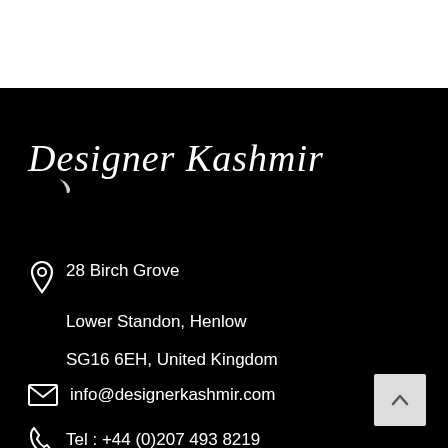[Figure (logo): Designer Kashmir brand logo in white italic script on black background]
28 Birch Grove
Lower Standon, Henlow
SG16 6EH, United Kingdom
info@designerkashmir.com
Tel : +44 (0)207 493 8219